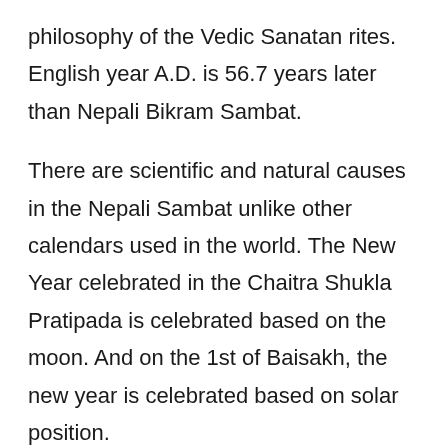philosophy of the Vedic Sanatan rites. English year A.D. is 56.7 years later than Nepali Bikram Sambat.
There are scientific and natural causes in the Nepali Sambat unlike other calendars used in the world. The New Year celebrated in the Chaitra Shukla Pratipada is celebrated based on the moon. And on the 1st of Baisakh, the new year is celebrated based on solar position.